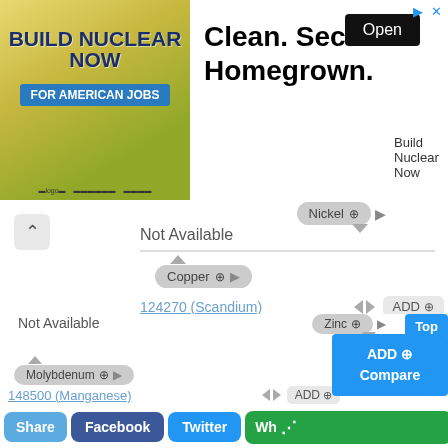[Figure (other): Advertisement banner: 'Build Nuclear Now For American Jobs' with tagline 'Clean. Secure. Homegrown.' and an Open button]
Not Available
Nickel
Copper
124270 (Scandium)
5.5.20 20th Energy Level
Not Available
Zinc
Top
Molybdenum
148500 (Manganese)
ADD Compare
Share
Facebook
Twitter
Wh